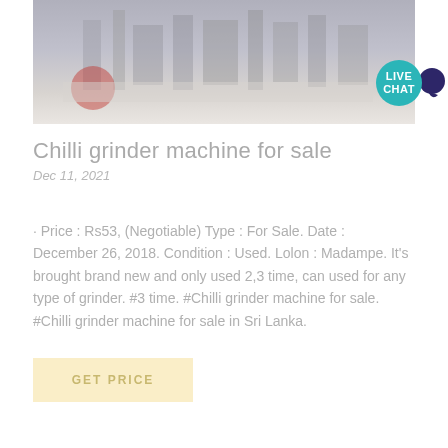[Figure (photo): Industrial machinery / chilli grinder machine in a factory or workshop setting, shown in muted/faded tones]
Chilli grinder machine for sale
Dec 11, 2021
· Price : Rs53, (Negotiable) Type : For Sale. Date : December 26, 2018. Condition : Used. Lolon : Madampe. It's brought brand new and only used 2,3 time, can used for any type of grinder. #3 time. #Chilli grinder machine for sale. #Chilli grinder machine for sale in Sri Lanka.
GET PRICE